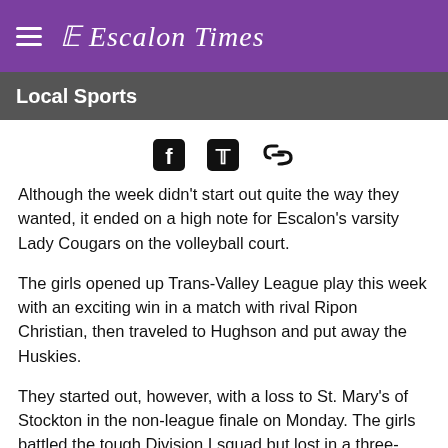≡ Escalon Times
Local Sports
[Figure (other): Share icons: Facebook, Twitter, and link/chain icon]
Although the week didn't start out quite the way they wanted, it ended on a high note for Escalon's varsity Lady Cougars on the volleyball court.
The girls opened up Trans-Valley League play this week with an exciting win in a match with rival Ripon Christian, then traveled to Hughson and put away the Huskies.
They started out, however, with a loss to St. Mary's of Stockton in the non-league finale on Monday. The girls battled the tough Division I squad but lost in a three-game set. The loss was valuable in that it helped them fine tune some things prior to the